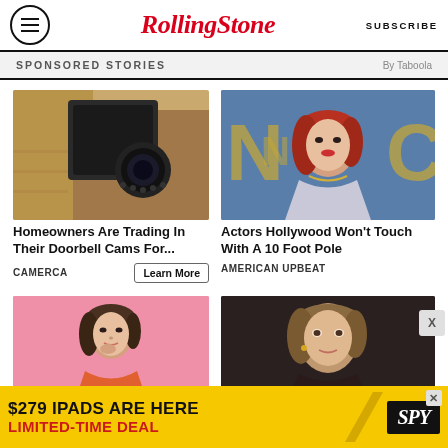RollingStone — SUBSCRIBE
SPONSORED STORIES — By Taboola
[Figure (photo): Security camera mounted on stucco wall — sponsored ad image for Camerca]
Homeowners Are Trading In Their Doorbell Cams For...
CAMERCA
Learn More
[Figure (photo): Red-haired actress at event — sponsored ad image for American Upbeat]
Actors Hollywood Won't Touch With A 10 Foot Pole
AMERICAN UPBEAT
[Figure (photo): Young brunette actress against pink background — second row left sponsored image]
[Figure (photo): Blonde actress at event — second row right sponsored image]
[Figure (screenshot): Bottom banner ad: $279 IPADS ARE HERE LIMITED-TIME DEAL — SPY brand]